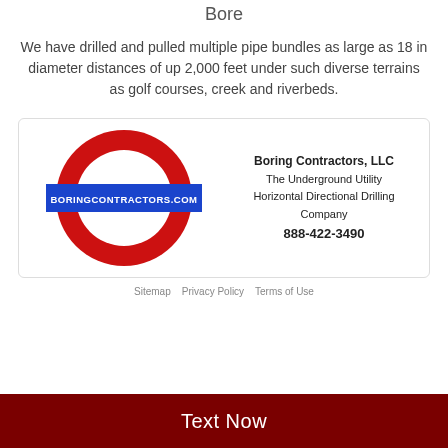Bore
We have drilled and pulled multiple pipe bundles as large as 18 in diameter distances of up 2,000 feet under such diverse terrains as golf courses, creek and riverbeds.
[Figure (logo): Boring Contractors LLC logo: red circle ring with blue banner reading BORINGCONTRACTORS.COM, alongside company info text]
Sitemap   Privacy Policy   Terms of Use
Text Now